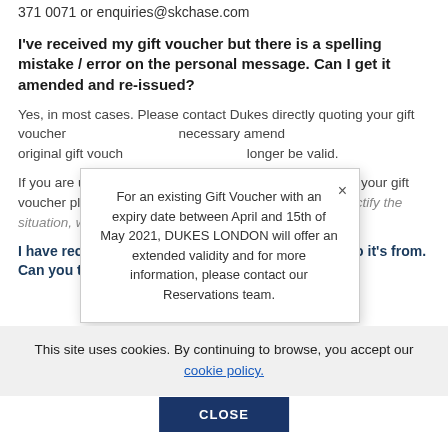371 0071 or enquiries@skchase.com
I've received my gift voucher but there is a spelling mistake / error on the personal message.  Can I get it amended and re-issued?
Yes, in most cases.  Please contact Dukes directly quoting your gift voucher number and they will make any necessary amendments and re-issue.  Please note the original gift voucher will be collected and will no longer be valid.
For an existing Gift Voucher with an expiry date between April and 15th of May 2021, DUKES LONDON will offer an extended validity and for more information, please contact our Reservations team.
If you are unhappy with any aspect of the presentation of your gift voucher please contact Dukes immediately so that we rectify the situation, where possible.
I have received a gift voucher but I don't know who it's from.  Can you tell me who bought it for me?
This site uses cookies. By continuing to browse, you accept our cookie policy.